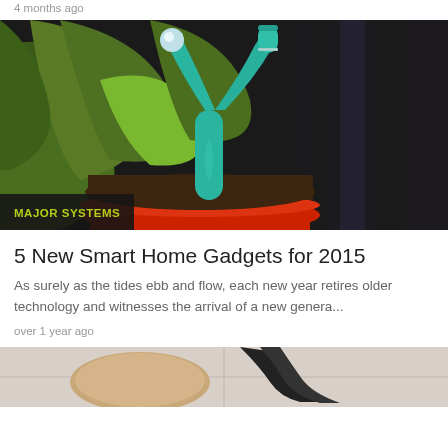4 months ago
[Figure (photo): Close-up photo of a teal/turquoise Y-shaped smart plant sensor device inserted into soil of a potted green leafy plant with a red pot]
MAJOR SYSTEMS
5 New Smart Home Gadgets for 2015
As surely as the tides ebb and flow, each new year retires older technology and witnesses the arrival of a new genera...
over 1 year ago
[Figure (photo): Partial image at bottom of page showing what appears to be a round object and a black strap or cord on a tiled surface]